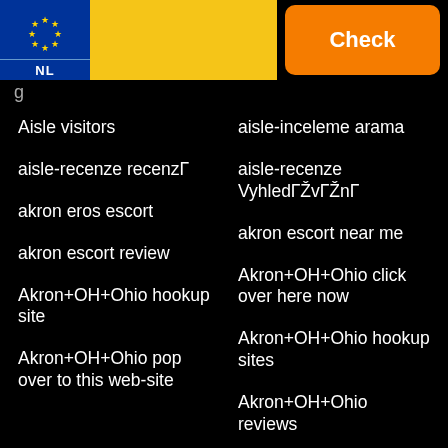[Figure (other): Header with NL EU license plate logo on blue/yellow background and orange Check button]
g
Aisle visitors
aisle-inceleme arama
aisle-recenze recenzГ
aisle-recenze VyhledГŽvГŽnГ
akron eros escort
akron escort near me
akron escort review
Akron+OH+Ohio click over here now
Akron+OH+Ohio hookup site
Akron+OH+Ohio hookup sites
Akron+OH+Ohio pop over to this web-site
Akron+OH+Ohio reviews